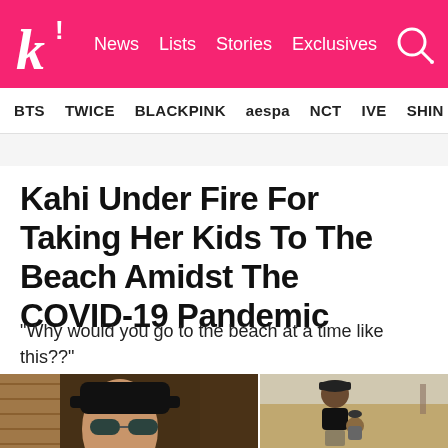k! News Lists Stories Exclusives
BTS TWICE BLACKPINK aespa NCT IVE SHIN
Kahi Under Fire For Taking Her Kids To The Beach Amidst The COVID-19 Pandemic
“Why would you go to the beach at a time like this??”
[Figure (photo): Two photos side by side: left photo shows a person with sunglasses and dark hat; right photo shows a woman from behind in a bikini with a child at a beach.]